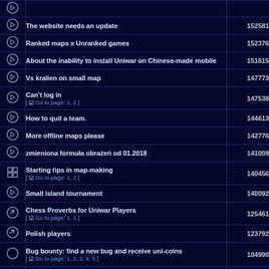| icon | topic | views |
| --- | --- | --- |
| icon | The website needs an update | 152581 |
| icon | Ranked maps x Unranked games | 152376 |
| icon | About the inability to install Uniwar on Chinese-made mobile | 151615 |
| icon | Vs kralien on small map | 147773 |
| icon | Can't log in [ Go to page: 1, 2 ] | 147538 |
| icon | How to quit a team. | 144613 |
| icon | More offline maps please | 142776 |
| icon | zmieniona formuła obrażeń od 01.2018 | 141009 |
| icon | Starting tips in map-making [ Go to page: 1, 2 ] | 140456 |
| icon | Small island tournament | 140092 |
| icon | Chess Proverbs for Uniwar Players [ Go to page: 1, 2 ] | 125461 |
| icon | Polish players | 123792 |
| icon | Bug bounty: find a new bug and receive uni-coins [ Go to page: 1, 2, 3, 4, 5 ] | 104990 |
| icon | Gangup bonus [ Go to page: 1, 2, 3, 4 ] | 102597 |
| icon | Teams [ Go to page: 1, 2 ] | 102436 |